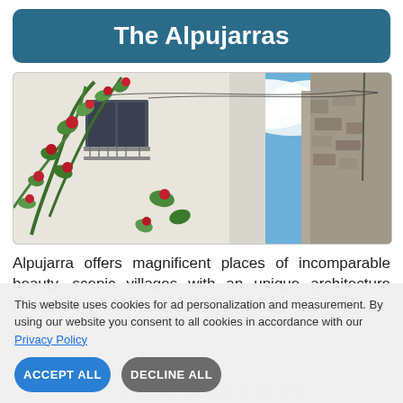The Alpujarras
[Figure (photo): Narrow village street with white-washed buildings covered in climbing roses and green vines, blue sky with clouds visible above stone walls]
Alpujarra offers magnificent places of incomparable beauty, scenic villages with an unique architecture dating from
This website uses cookies for ad personalization and measurement. By using our website you consent to all cookies in accordance with our Privacy Policy
ACCEPT ALL
DECLINE ALL
Granada Tropical Coast